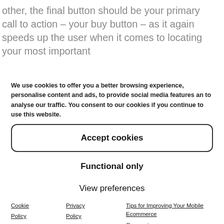other, the final button should be your primary call to action – your buy button – as it again speeds up the user when it comes to locating your most important
We use cookies to offer you a better browsing experience, personalise content and ads, to provide social media features an to analyse our traffic. You consent to our cookies if you continue to use this website.
Accept cookies
Functional only
View preferences
Cookie Policy | Privacy Policy | Tips for Improving Your Mobile Ecommerce Conversions